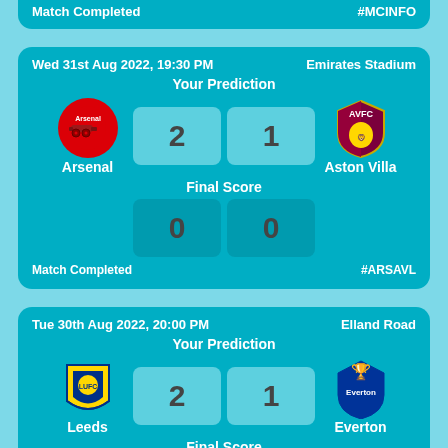Match Completed    #MCINFO
Wed 31st Aug 2022, 19:30 PM    Emirates Stadium
Your Prediction
2   1
Arsenal    Aston Villa
Final Score
0   0
Match Completed    #ARSAVL
Tue 30th Aug 2022, 20:00 PM    Elland Road
Your Prediction
2   1
Leeds    Everton
Final Score